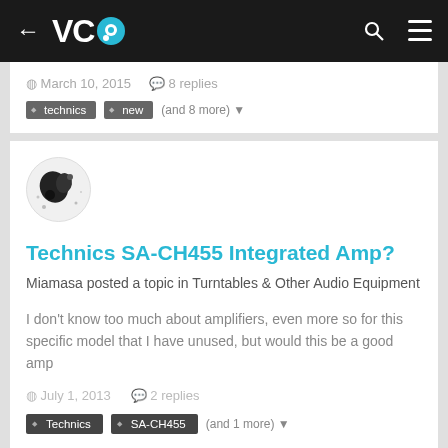VC [logo] — navigation bar with back arrow, search, and menu icons
March 10, 2015   8 replies
technics
new
(and 8 more)
[Figure (illustration): Circular user avatar with abstract black shape on white background]
Technics SA-CH455 Integrated Amp?
Miamasa posted a topic in Turntables & Other Audio Equipment
I don't know too much about amplifiers, even more so for this specific model that I have unused, but would this be a good amp
July 1, 2013   2 replies
Technics
SA-CH455
(and 1 more)